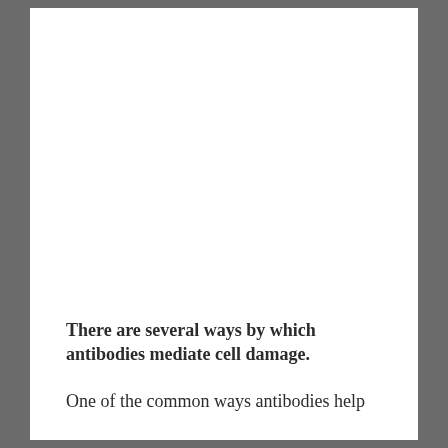There are several ways by which antibodies mediate cell damage.
One of the common ways antibodies help